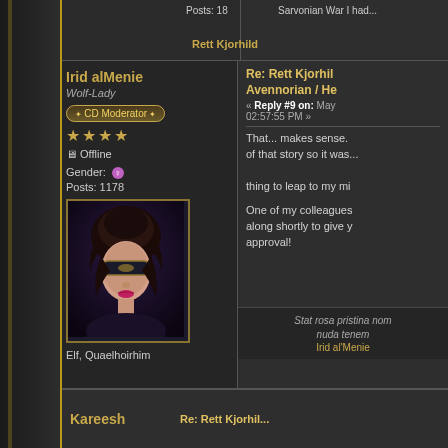Posts: 18
Sarvonian War I had...
Rett Kjorhild
Irid alMenie
Wolf-Lady
CD Moderator
★★★★
Offline
Gender: ♀
Posts: 1178
[Figure (illustration): Fantasy avatar portrait of a dark-haired woman with a mask/blindfold]
Elf, Quaelhoirhim
Re: Rett Kjorhild... Avennorian / He...
« Reply #9 on: May... 02:57:55 PM »
That... makes sense. of that story so it was... thing to leap to my mi...
One of my colleagues... along shortly to give y... approval!
Stat rosa pristina nom... nuda tenem...
Irid al'Menie
Kareesh
Re: Rett Kjorhil...